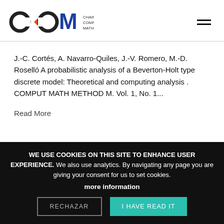CHAIR OF COMPUTATIONAL MATHEMATICS
J.-C. Cortés, A. Navarro-Quiles, J.-V. Romero, M.-D. Roselló A probabilistic analysis of a Beverton-Holt type discrete model: Theoretical and computing analysis . COMPUT MATH METHOD M. Vol. 1, No. 1...
Read More
WE USE COOKIES ON THIS SITE TO ENHANCE USER EXPERIENCE. We also use analytics. By navigating any page you are giving your consent for us to set cookies. more information